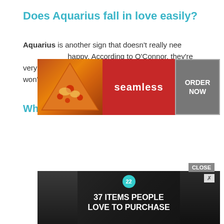Does Aquarius fall in love easily?
Aquarius is another sign that doesn't really need a partner to be happy. According to O'Connor, they're very social beings. It doesn't mean that Aquarius won't ever fall in love. It just takes a really long time.
[Figure (infographic): Seamless food delivery advertisement with pizza image on left, Seamless logo in red center, and ORDER NOW button on right]
Why are Aquarius so pretty?
[Figure (infographic): Advertisement showing '37 ITEMS PEOPLE LOVE TO PURCHASE' with food images and badge showing 22]
CLOSE
X